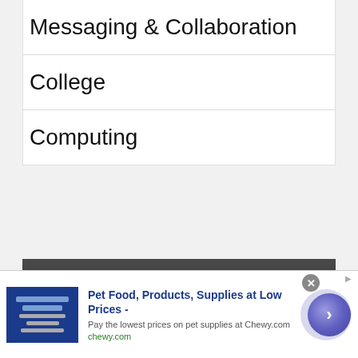Messaging & Collaboration
College
Computing
About | Copyright Policy | Privacy Policy | Terms of Use
Copyright © 2022 Bright Hub PM. All Rights Reserved.
[Figure (other): Advertisement banner for Chewy.com pet supplies with image, headline 'Pet Food, Products, Supplies at Low Prices -', subtext 'Pay the lowest prices on pet supplies at Chewy.com', url 'chewy.com', and a circular CTA button with arrow.]